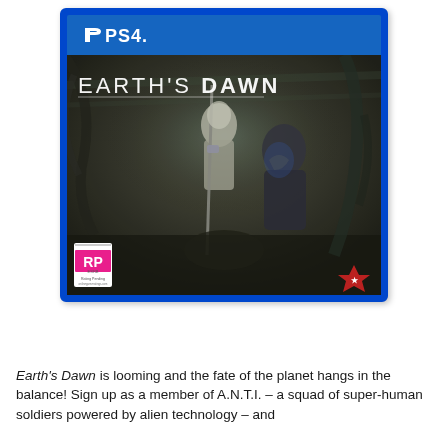[Figure (photo): PS4 game box cover for Earth's Dawn. Blue PS4 branding bar at top. Dark fantasy/sci-fi artwork showing armored soldiers. ESRB RP rating badge in bottom-left, publisher star logo in bottom-right.]
Earth's Dawn is looming and the fate of the planet hangs in the balance! Sign up as a member of A.N.T.I. – a squad of super-human soldiers powered by alien technology – and